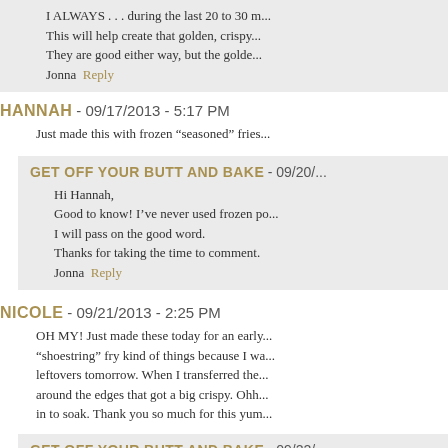I ALWAYS . . . during the last 20 to 30 m...
This will help create that golden, crispy...
They are good either way, but the golde...
Jonna Reply
HANNAH - 09/17/2013 - 5:17 PM
Just made this with frozen "seasoned" fries...
GET OFF YOUR BUTT AND BAKE - 09/20/...
Hi Hannah,
Good to know! I've never used frozen po...
I will pass on the good word.
Thanks for taking the time to comment.
Jonna Reply
NICOLE - 09/21/2013 - 2:25 PM
OH MY! Just made these today for an early...
"shoestring" fry kind of things because I wa...
leftovers tomorrow. When I transferred the...
around the edges that got a big crispy. Ohh...
in to soak. Thank you so much for this yum...
GET OFF YOUR BUTT AND BAKE - 09/22/...
Hi Nicole,
You made me laugh out loud! I'm glad th...
I love to Brown Chicken Breasts Or Brow...
the